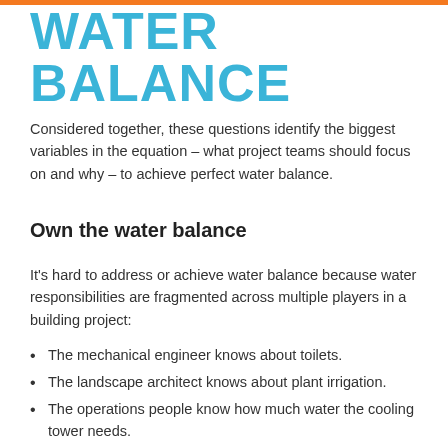WATER BALANCE
Considered together, these questions identify the biggest variables in the equation – what project teams should focus on and why – to achieve perfect water balance.
Own the water balance
It's hard to address or achieve water balance because water responsibilities are fragmented across multiple players in a building project:
The mechanical engineer knows about toilets.
The landscape architect knows about plant irrigation.
The operations people know how much water the cooling tower needs.
The civil engineer figures out where the water comes from